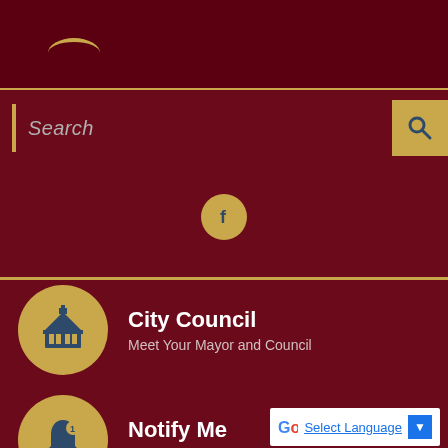[Figure (screenshot): City government website screenshot showing dark maroon background with search bar, Facebook social icon, City Council section with building icon, and Notify Me section with bell icon, plus Google Translate widget]
Search
City Council
Meet Your Mayor and Council
Notify Me
Connect with the City
Select Language